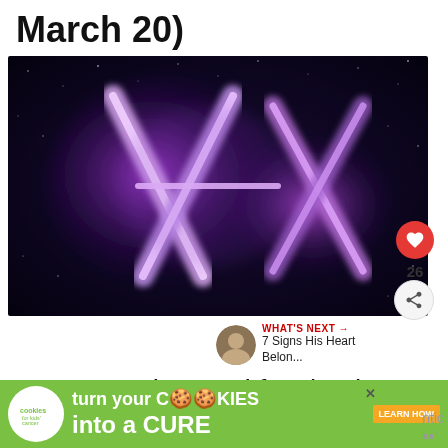March 20)
[Figure (photo): Pisces zodiac symbol rendered in glowing purple and pink neon light against a dark cosmic/nebula background]
Deep, emotive, and fascinating, just like
[Figure (other): Advertisement banner: 'turn your COOKIES into a CURE LEARN HOW' with cookies for kids' cancer logo]